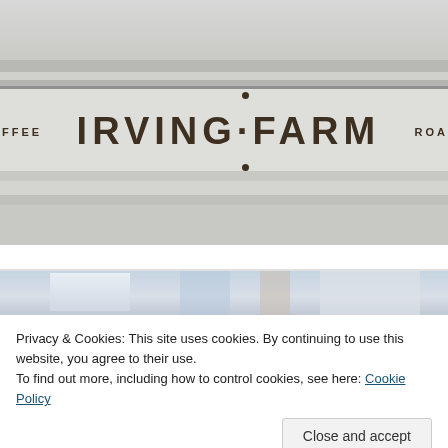[Figure (photo): Exterior photograph of Irving Farm Coffee Roasters storefront showing the sign band with 'FFEE' on the left, 'IRVING FARM' in the center with decorative dots, and 'ROA' on the right, set against a classical stone facade with molding details.]
[Figure (photo): Partial view of a street scene below the cookie banner, showing reflections and urban elements.]
Privacy & Cookies: This site uses cookies. By continuing to use this website, you agree to their use.
To find out more, including how to control cookies, see here: Cookie Policy
Close and accept